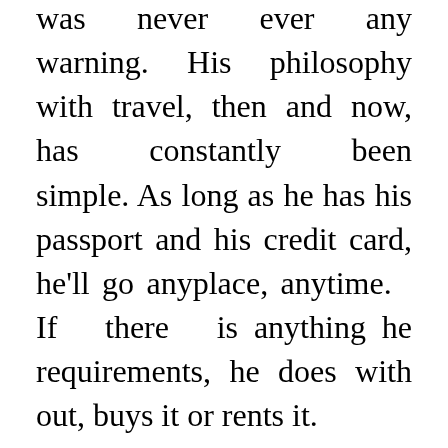was never ever any warning. His philosophy with travel, then and now, has constantly been simple. As long as he has his passport and his credit card, he'll go anyplace, anytime. If there is anything he requirements, he does with out, buys it or rents it.

I see this usually as well. The point is that you must